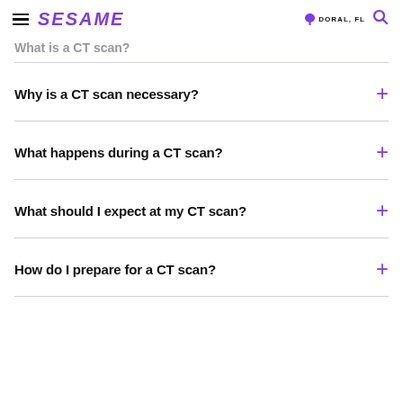SESAME | DORAL, FL
What is a CT scan?
Why is a CT scan necessary?
What happens during a CT scan?
What should I expect at my CT scan?
How do I prepare for a CT scan?